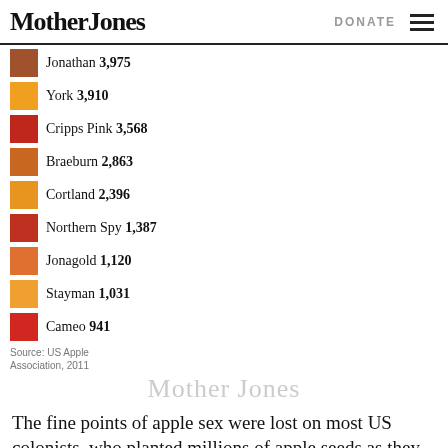Mother Jones | DONATE
[Figure (bar-chart): Apple varieties]
Source: US Apple Association, 2011
The fine points of apple sex were lost on most US colonists, who planted millions of apple seeds as they settled farms and traveled west. Leading the way was John Chapman, a.k.a. Johnny Appleseed